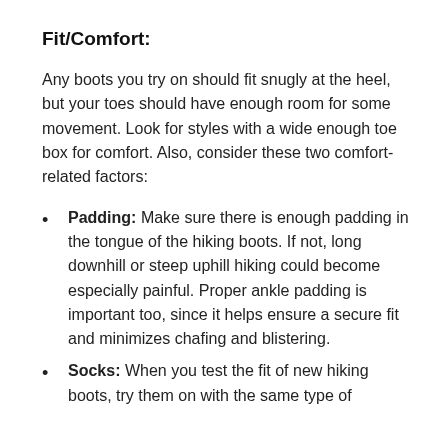Fit/Comfort:
Any boots you try on should fit snugly at the heel, but your toes should have enough room for some movement. Look for styles with a wide enough toe box for comfort. Also, consider these two comfort-related factors:
Padding: Make sure there is enough padding in the tongue of the hiking boots. If not, long downhill or steep uphill hiking could become especially painful. Proper ankle padding is important too, since it helps ensure a secure fit and minimizes chafing and blistering.
Socks: When you test the fit of new hiking boots, try them on with the same type of socks you will wear when hiking.